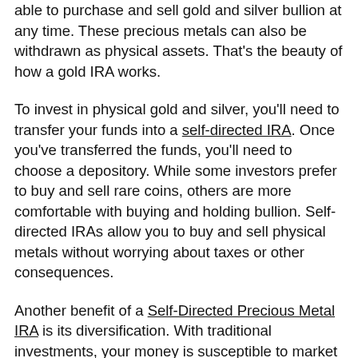able to purchase and sell gold and silver bullion at any time. These precious metals can also be withdrawn as physical assets. That's the beauty of how a gold IRA works.
To invest in physical gold and silver, you'll need to transfer your funds into a self-directed IRA. Once you've transferred the funds, you'll need to choose a depository. While some investors prefer to buy and sell rare coins, others are more comfortable with buying and holding bullion. Self-directed IRAs allow you to buy and sell physical metals without worrying about taxes or other consequences.
Another benefit of a Self-Directed Precious Metal IRA is its diversification. With traditional investments, your money is susceptible to market volatility and fluctuations. Alternative assets such as real estate,